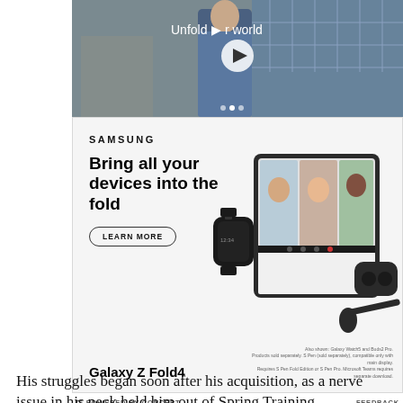[Figure (screenshot): Samsung video advertisement thumbnail showing a man in a denim jacket with text 'Unfold your world' and a play button overlay]
[Figure (screenshot): Samsung Galaxy Z Fold4 advertisement showing the phone, Galaxy Watch, and Buds Pro with headline 'Bring all your devices into the fold' and a LEARN MORE button]
POWERED BY CONCERT    FEEDBACK
His struggles began soon after his acquisition, as a nerve issue in his neck held him out of Spring Training